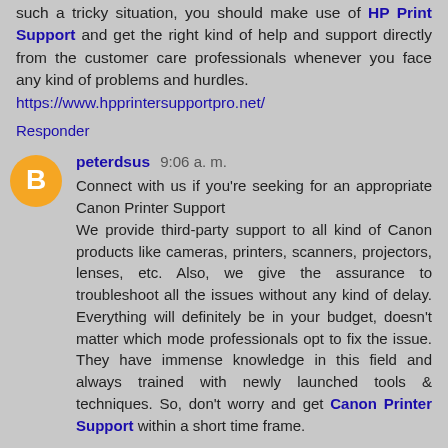such a tricky situation, you should make use of HP Print Support and get the right kind of help and support directly from the customer care professionals whenever you face any kind of problems and hurdles. https://www.hpprintersupportpro.net/
Responder
peterdsus 9:06 a. m.
Connect with us if you're seeking for an appropriate Canon Printer Support We provide third-party support to all kind of Canon products like cameras, printers, scanners, projectors, lenses, etc. Also, we give the assurance to troubleshoot all the issues without any kind of delay. Everything will definitely be in your budget, doesn't matter which mode professionals opt to fix the issue. They have immense knowledge in this field and always trained with newly launched tools & techniques. So, don't worry and get Canon Printer Support within a short time frame.